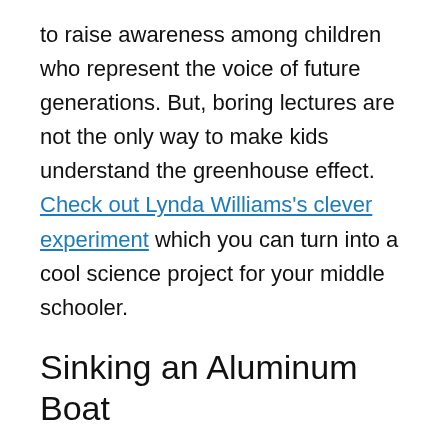to raise awareness among children who represent the voice of future generations. But, boring lectures are not the only way to make kids understand the greenhouse effect. Check out Lynda Williams's clever experiment which you can turn into a cool science project for your middle schooler.
Sinking an Aluminum Boat
Younger children have probably already experimented with floating and sinking objects when they were younger. However, have they made the connection that if we